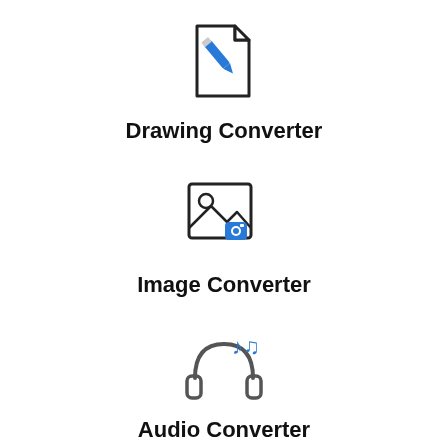[Figure (illustration): Drawing Converter icon: a document/file outline with a blue pencil overlaid in the lower right corner]
Drawing Converter
[Figure (illustration): Image Converter icon: a framed picture outline with a mountain and sun scene, with a small blue camera icon in the lower right corner]
Image Converter
[Figure (illustration): Audio Converter icon: headphones in dark gray with blue musical notes in the upper right area]
Audio Converter
[Figure (illustration): Partial icon at bottom: appears to be a video/play converter icon, partially visible]